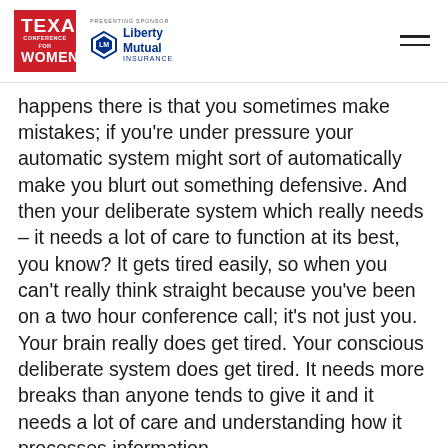Texas Conference for Women | Presenting Sponsor: Liberty Mutual Insurance
happens there is that you sometimes make mistakes; if you're under pressure your automatic system might sort of automatically make you blurt out something defensive. And then your deliberate system which really needs – it needs a lot of care to function at its best, you know? It gets tired easily, so when you can't really think straight because you've been on a two hour conference call; it's not just you. Your brain really does get tired. Your conscious deliberate system does get tired. It needs more breaks than anyone tends to give it and it needs a lot of care and understanding how it processes information.
So if we were able to figure out how to give our